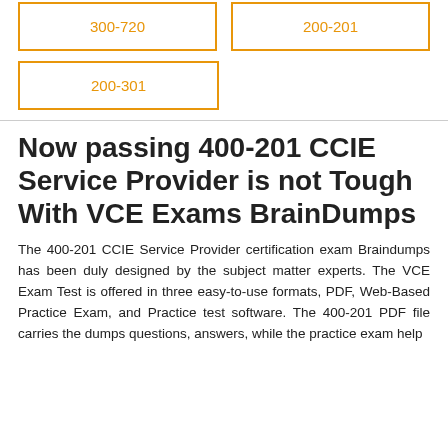| 300-720 | 200-201 |
| 200-301 |  |
Now passing 400-201 CCIE Service Provider is not Tough With VCE Exams BrainDumps
The 400-201 CCIE Service Provider certification exam Braindumps has been duly designed by the subject matter experts. The VCE Exam Test is offered in three easy-to-use formats, PDF, Web-Based Practice Exam, and Practice test software. The 400-201 PDF file carries the dumps questions, answers, while the practice exam help